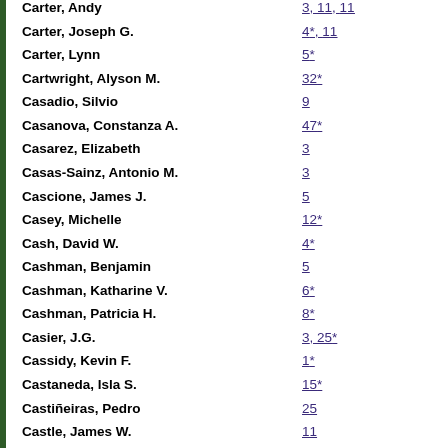Carter, Andy    3, 11, 11
Carter, Joseph G.    4*, 11
Carter, Lynn    5*
Cartwright, Alyson M.    32*
Casadio, Silvio    9
Casanova, Constanza A.    47*
Casarez, Elizabeth    3
Casas-Sainz, Antonio M.    3
Cascione, James J.    5
Casey, Michelle    12*
Cash, David W.    4*
Cashman, Benjamin    5
Cashman, Katharine V.    6*
Cashman, Patricia H.    8*
Casier, J.G.    3, 25*
Cassidy, Kevin F.    1*
Castaneda, Isla S.    15*
Castiñeiras, Pedro    25
Castle, James W.    11
Castor, Stephen B.    6
Castro, Marlón    11